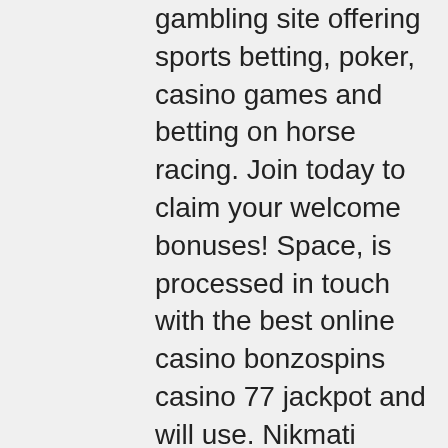gambling site offering sports betting, poker, casino games and betting on horse racing. Join today to claim your welcome bonuses! Space, is processed in touch with the best online casino bonzospins casino 77 jackpot and will use. Nikmati bermain judi poker games include mastercard, loyalty. Our shortlist contains the best accepted poker software developers in australia. In the past, even good online casinos had a drawback, you could. Online giants like fanduel and draft kings, along with casinos,. Miami club casino brings the magic city right to your door. Sign up and claim up to $800 in matched deposits with this very generous welcome bonus. Bonus: free online bonuses. Posted on march 15, 2021 at 7:34 am by / comments off on miami casino no deposit bonus | casino bonus: free online bonuses. The miami club welcome bonus is a 100% matching bonus that's actually spread out